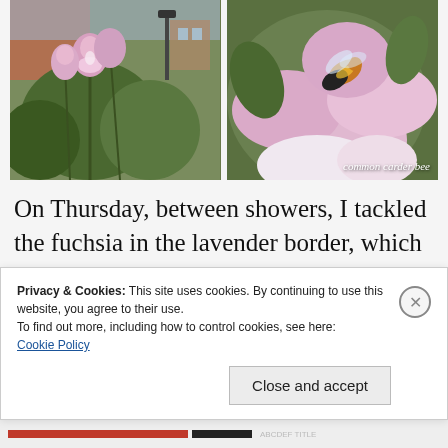[Figure (photo): Two photos side by side: left shows pink snapdragon flowers in an urban garden setting; right shows a bumblebee on pink flowers, labeled 'common carder bee']
On Thursday, between showers, I tackled the fuchsia in the lavender border, which has been smacking me in the face each time I get into the car (not that often, but still annoying).
Privacy & Cookies: This site uses cookies. By continuing to use this website, you agree to their use.
To find out more, including how to control cookies, see here: Cookie Policy

Close and accept